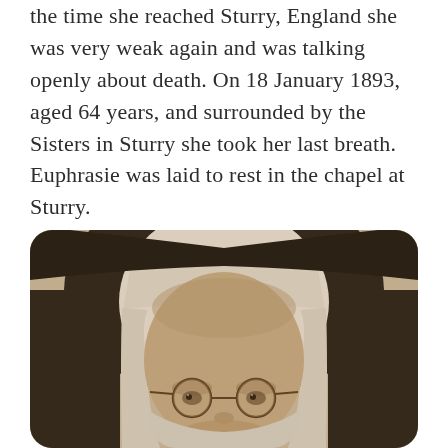the time she reached Sturry, England she was very weak again and was talking openly about death. On 18 January 1893, aged 64 years, and surrounded by the Sisters in Sturry she took her last breath. Euphrasie was laid to rest in the chapel at Sturry.
[Figure (photo): A sepia-toned close-up photograph of a nun wearing a dark habit and white wimple framing her face, with round wire-rimmed glasses. The photo has rounded corners.]